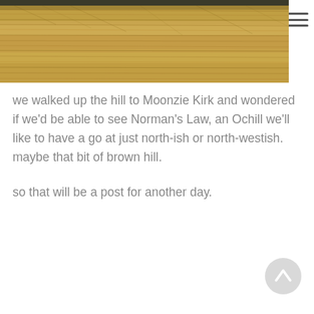[Figure (photo): A close-up photograph of a harvested field covered in golden-brown straw/hay, with a dark sky or treeline visible at the very top edge.]
we walked up the hill to Moonzie Kirk and wondered if we'd be able to see Norman's Law, an Ochill we'll like to have a go at just north-ish or north-westish. maybe that bit of brown hill.
so that will be a post for another day.